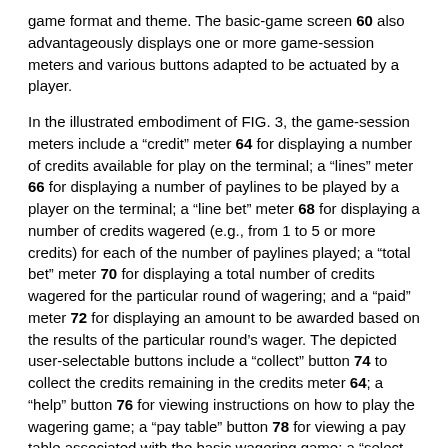game format and theme. The basic-game screen 60 also advantageously displays one or more game-session meters and various buttons adapted to be actuated by a player.
In the illustrated embodiment of FIG. 3, the game-session meters include a "credit" meter 64 for displaying a number of credits available for play on the terminal; a "lines" meter 66 for displaying a number of paylines to be played by a player on the terminal; a "line bet" meter 68 for displaying a number of credits wagered (e.g., from 1 to 5 or more credits) for each of the number of paylines played; a "total bet" meter 70 for displaying a total number of credits wagered for the particular round of wagering; and a "paid" meter 72 for displaying an amount to be awarded based on the results of the particular round's wager. The depicted user-selectable buttons include a "collect" button 74 to collect the credits remaining in the credits meter 64; a "help" button 76 for viewing instructions on how to play the wagering game; a "pay table" button 78 for viewing a pay table associated with the basic wagering game; a "select lines" button 80 for changing the number of paylines (displayed in the lines meter 66) a player wishes to play; a